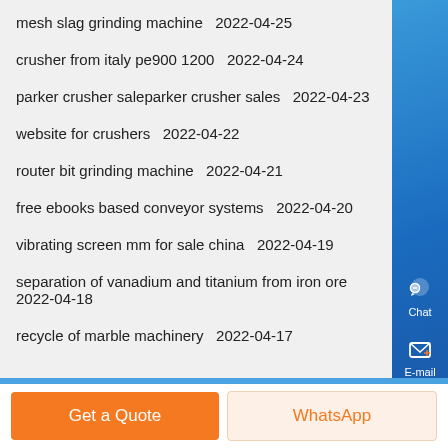mesh slag grinding machine  2022-04-25
crusher from italy pe900 1200  2022-04-24
parker crusher saleparker crusher sales  2022-04-23
website for crushers  2022-04-22
router bit grinding machine  2022-04-21
free ebooks based conveyor systems  2022-04-20
vibrating screen mm for sale china  2022-04-19
separation of vanadium and titanium from iron ore  2022-04-18
recycle of marble machinery  2022-04-17